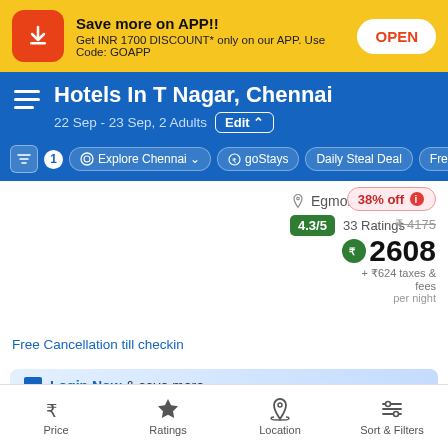[Figure (screenshot): App download banner with orange icon, text 'Save more on APP!!' and OPEN button]
Hotels In T Nagar, Chennai
22 Sep - 23 Sep, 2 Adults  Edit ^
1  Explore Chennai  goStays  Daily Steal Deal  Free
Egmore
4.3/5  33 Ratings
38% off  ₹ 4175  ₹2608  + ₹624 taxes & fees  per night
Free Cancellation till checkin
Login Now & save more
Price  Ratings  Location  Sort & Filters